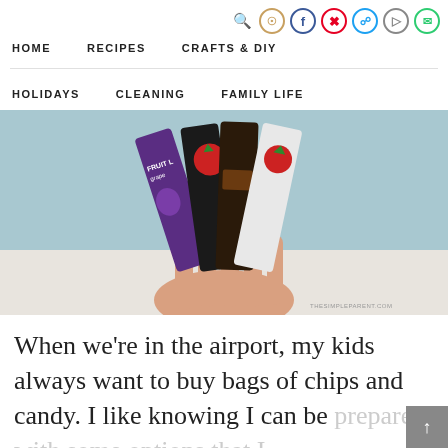HOME  RECIPES  CRAFTS & DIY  HOLIDAYS  CLEANING  FAMILY LIFE
[Figure (photo): Hand holding multiple fruit leather snack packages (grape, strawberry, chocolate flavors) fanned out, with teal background. Watermark reads THESIMPLEPARENT.COM]
When we're in the airport, my kids always want to buy bags of chips and candy. I like knowing I can be prepared with some options that I can feel good about. It's all the...